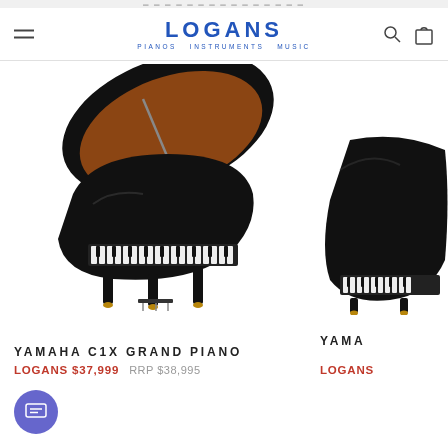LOGANS PIANOS INSTRUMENTS MUSIC
[Figure (photo): Yamaha C1X Grand Piano in polished ebony finish, lid open, viewed from front-right angle]
[Figure (photo): Partial view of another Yamaha Grand Piano in polished ebony, partially cropped on right side]
YAMAHA C1X GRAND PIANO
LOGANS $37,999    RRP $38,995
YAMA
LOGANS